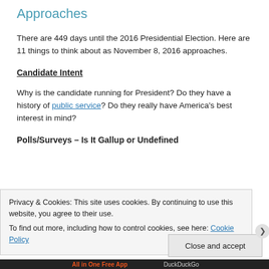Approaches
There are 449 days until the 2016 Presidential Election. Here are 11 things to think about as November 8, 2016 approaches.
Candidate Intent
Why is the candidate running for President? Do they have a history of public service? Do they really have America's best interest in mind?
Polls/Surveys – Is It Gallup or Undefined
Privacy & Cookies: This site uses cookies. By continuing to use this website, you agree to their use.
To find out more, including how to control cookies, see here: Cookie Policy
Close and accept